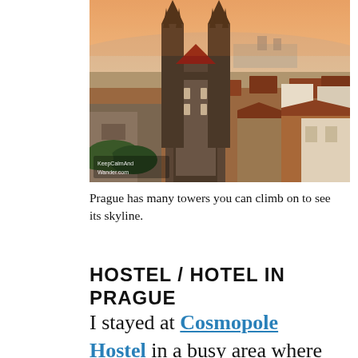[Figure (photo): Aerial/elevated view of Prague skyline at sunset/golden hour, showing the Church of Our Lady before Týn with its twin Gothic spires, Prague Castle in the background, and red-roofed buildings across the city. A watermark reads 'KeepCalmAndWander.com' in the lower left.]
Prague has many towers you can climb on to see its skyline.
HOSTEL / HOTEL IN PRAGUE
I stayed at Cosmopole Hostel in a busy area where public transport to and from